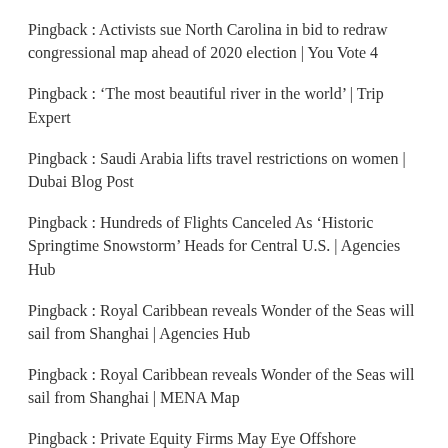Pingback : Activists sue North Carolina in bid to redraw congressional map ahead of 2020 election | You Vote 4
Pingback : ‘The most beautiful river in the world’ | Trip Expert
Pingback : Saudi Arabia lifts travel restrictions on women | Dubai Blog Post
Pingback : Hundreds of Flights Canceled As ‘Historic Springtime Snowstorm’ Heads for Central U.S. | Agencies Hub
Pingback : Royal Caribbean reveals Wonder of the Seas will sail from Shanghai | Agencies Hub
Pingback : Royal Caribbean reveals Wonder of the Seas will sail from Shanghai | MENA Map
Pingback : Private Equity Firms May Eye Offshore